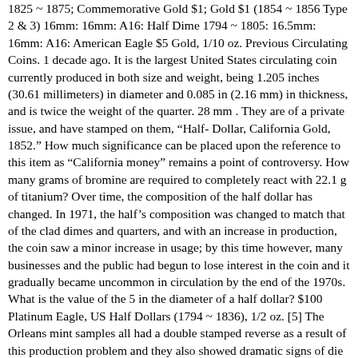1825 ~ 1875; Commemorative Gold $1; Gold $1 (1854 ~ 1856 Type 2 & 3) 16mm: 16mm: A16: Half Dime 1794 ~ 1805: 16.5mm: 16mm: A16: American Eagle $5 Gold, 1/10 oz. Previous Circulating Coins. 1 decade ago. It is the largest United States circulating coin currently produced in both size and weight, being 1.205 inches (30.61 millimeters) in diameter and 0.085 in (2.16 mm) in thickness, and is twice the weight of the quarter. 28 mm . They are of a private issue, and have stamped on them, “Half-Dollar, California Gold, 1852.” How much significance can be placed upon the reference to this item as “California money” remains a point of controversy. How many grams of bromine are required to completely react with 22.1 g of titanium? Over time, the composition of the half dollar has changed. In 1971, the half’s composition was changed to match that of the clad dimes and quarters, and with an increase in production, the coin saw a minor increase in usage; by this time however, many businesses and the public had begun to lose interest in the coin and it gradually became uncommon in circulation by the end of the 1970s. What is the value of the 5 in the diameter of a half dollar? $100 Platinum Eagle, US Half Dollars (1794 ~ 1836), 1/2 oz. [5] The Orleans mint samples all had a double stamped reverse as a result of this production problem and they also showed dramatic signs of die rust, neither of which are present on the Philadelphia produced test samples. Although intended only for collectors, these post-2001 half dollars often find their way into circulation, with examples occurring in change or as payment for small transactions.